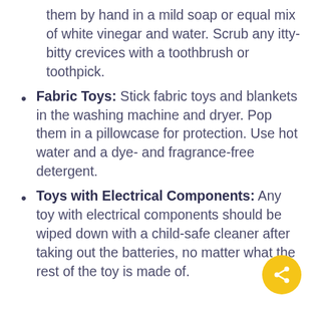them by hand in a mild soap or equal mix of white vinegar and water. Scrub any itty-bitty crevices with a toothbrush or toothpick.
Fabric Toys: Stick fabric toys and blankets in the washing machine and dryer. Pop them in a pillowcase for protection. Use hot water and a dye- and fragrance-free detergent.
Toys with Electrical Components: Any toy with electrical components should be wiped down with a child-safe cleaner after taking out the batteries, no matter what the rest of the toy is made of.